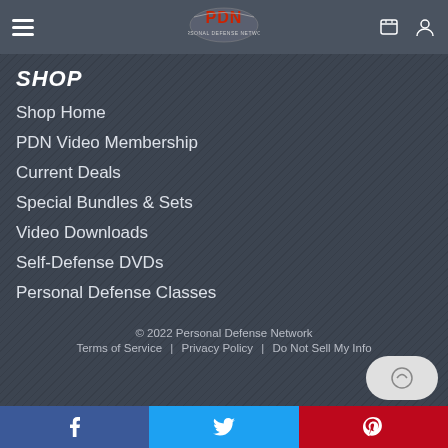PDN Personal Defense Network
SHOP
Shop Home
PDN Video Membership
Current Deals
Special Bundles & Sets
Video Downloads
Self-Defense DVDs
Personal Defense Classes
© 2022 Personal Defense Network | Terms of Service | Privacy Policy | Do Not Sell My Info